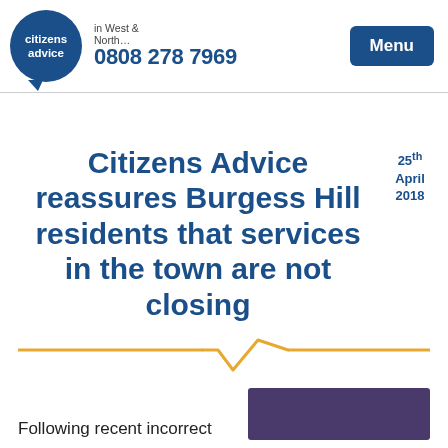citizens advice | in West North… | 0808 278 7969 | Menu
Citizens Advice reassures Burgess Hill residents that services in the town are not closing
25th April 2018
Following recent incorrect